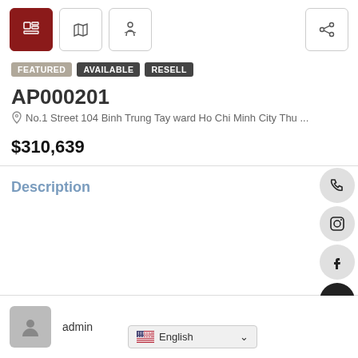[Figure (screenshot): Toolbar with three icon buttons (listing view active/red, map, street view) and a share button on the right]
FEATURED   AVAILABLE   RESELL
AP000201
No.1 Street 104 Binh Trung Tay ward Ho Chi Minh City Thu ...
$310,639
Description
admin
English